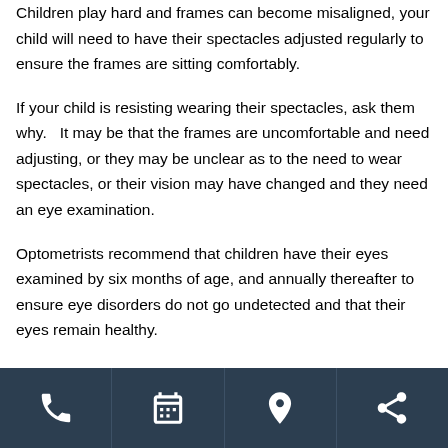Children play hard and frames can become misaligned, your child will need to have their spectacles adjusted regularly to ensure the frames are sitting comfortably.
If your child is resisting wearing their spectacles, ask them why.  It may be that the frames are uncomfortable and need adjusting, or they may be unclear as to the need to wear spectacles, or their vision may have changed and they need an eye examination.
Optometrists recommend that children have their eyes examined by six months of age, and annually thereafter to ensure eye disorders do not go undetected and that their eyes remain healthy.
Phone | Calendar | Location | Share